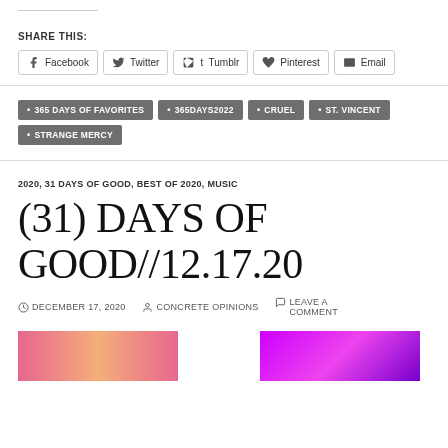SHARE THIS:
Facebook  Twitter  Tumblr  Pinterest  Email
• 365 DAYS OF FAVORITES  • 365DAYS2022  • CRUEL  • ST. VINCENT  • STRANGE MERCY
2020, 31 DAYS OF GOOD, BEST OF 2020, MUSIC
(31) DAYS OF GOOD//12.17.20
DECEMBER 17, 2020   CONCRETE OPINIONS   LEAVE A COMMENT